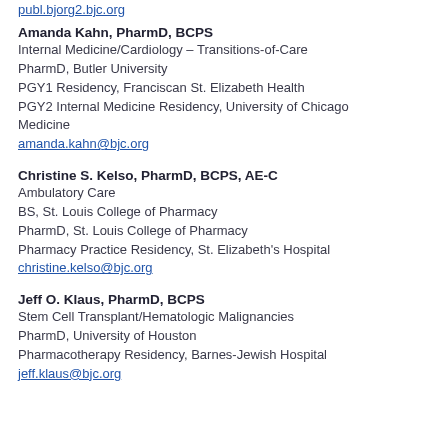[link at top — partial URL visible]
Amanda Kahn, PharmD, BCPS
Internal Medicine/Cardiology – Transitions-of-Care
PharmD, Butler University
PGY1 Residency, Franciscan St. Elizabeth Health
PGY2 Internal Medicine Residency, University of Chicago Medicine
amanda.kahn@bjc.org
Christine S. Kelso, PharmD, BCPS, AE-C
Ambulatory Care
BS, St. Louis College of Pharmacy
PharmD, St. Louis College of Pharmacy
Pharmacy Practice Residency, St. Elizabeth's Hospital
christine.kelso@bjc.org
Jeff O. Klaus, PharmD, BCPS
Stem Cell Transplant/Hematologic Malignancies
PharmD, University of Houston
Pharmacotherapy Residency, Barnes-Jewish Hospital
jeff.klaus@bjc.org